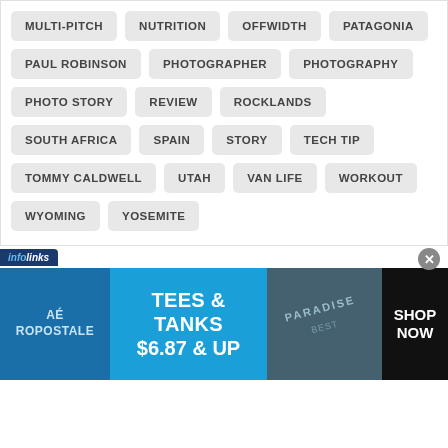MULTI-PITCH
NUTRITION
OFFWIDTH
PATAGONIA
PAUL ROBINSON
PHOTOGRAPHER
PHOTOGRAPHY
PHOTO STORY
REVIEW
ROCKLANDS
SOUTH AFRICA
SPAIN
STORY
TECH TIP
TOMMY CALDWELL
UTAH
VAN LIFE
WORKOUT
WYOMING
YOSEMITE
[Figure (screenshot): Aeropostale advertisement banner: TEES & TANKS $6.87 & UP, SHOP NOW]